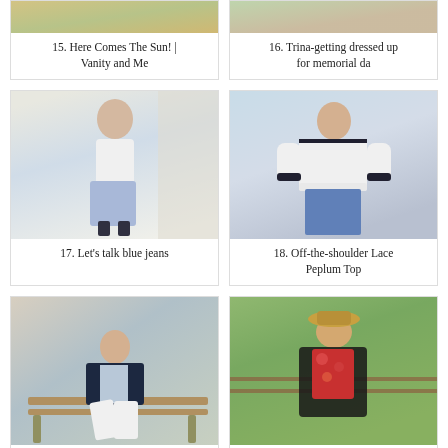[Figure (photo): Fashion photo - Here Comes The Sun | Vanity and Me (top clipped)]
15. Here Comes The Sun! | Vanity and Me
[Figure (photo): Fashion photo - Trina getting dressed up for memorial da (top clipped)]
16. Trina-getting dressed up for memorial da
[Figure (photo): Fashion photo - woman in white wrap top and blue jeans with sneakers]
17. Let's talk blue jeans
[Figure (photo): Fashion photo - woman in white off-the-shoulder lace peplum top with blue jeans]
18. Off-the-shoulder Lace Peplum Top
[Figure (photo): Fashion photo - woman in navy blue blazer and white pants sitting on bench]
19. Navy Blue and White
[Figure (photo): Fashion photo - woman in colorful floral swimsuit with black cover-up and hat outdoors]
20. In The Writer's Closet: